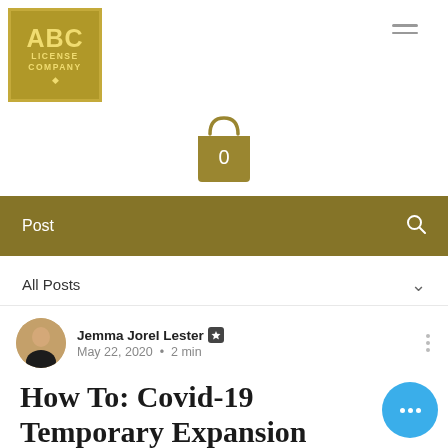[Figure (logo): ABC License Company logo — gold square border with ABC in large letters and LICENSE COMPANY below, with a small diamond ornament]
[Figure (illustration): Hamburger menu icon (three horizontal lines) in top-right area]
[Figure (illustration): Shopping bag icon with '0' label, gold color]
Post
All Posts
Jemma Jorel Lester · May 22, 2020 · 2 min
How To: Covid-19 Temporary Expansion
Updated: Sep 22, 2020